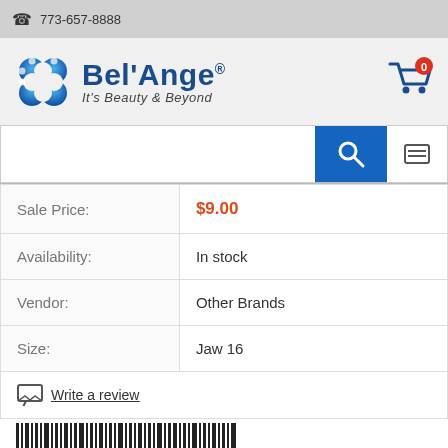📞 773-657-8888
[Figure (logo): Bel'Ange logo with blue flower/knot icon and text 'Bel'Ange It's Beauty & Beyond']
| Sale Price: | $9.00 |
| Availability: | In stock |
| Vendor: | Other Brands |
| Size: | Jaw 16 |
Write a review
[Figure (other): Partial barcode visible at bottom of product section]
HOME | CONTACT | TRACKING